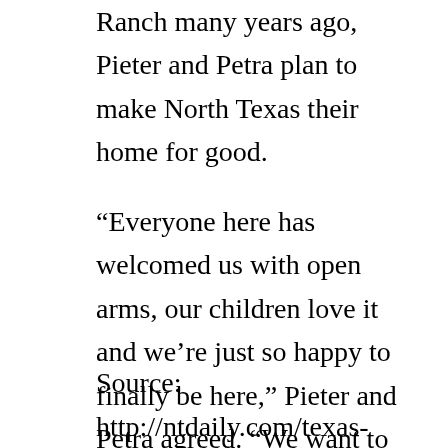Ranch many years ago, Pieter and Petra plan to make North Texas their home for good.
“Everyone here has welcomed us with open arms, our children love it and we’re just so happy to finally be here,” Pieter and Petra agreed. “We want to do this for the rest our lives.”
Source: http://ntdaily.com/texas-